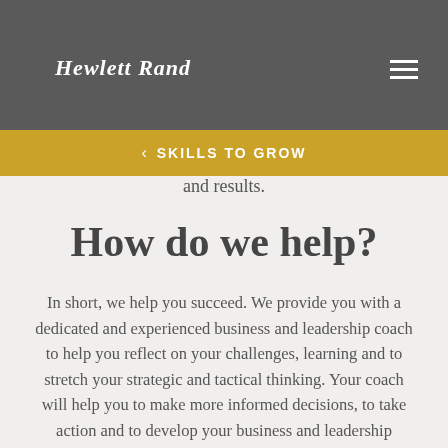competing priorities in today's world it can be difficult to see the wood from the trees and to find the breathing space to reflect, think strategically
and results.
< SKILLS TO GROW
How do we help?
In short, we help you succeed. We provide you with a dedicated and experienced business and leadership coach to help you reflect on your challenges, learning and to stretch your strategic and tactical thinking. Your coach will help you to make more informed decisions, to take action and to develop your business and leadership capabilities to deliver outstanding results.